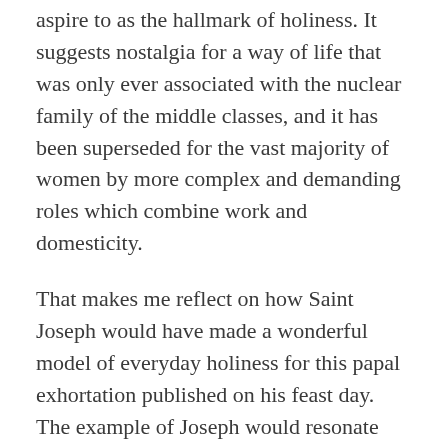aspire to as the hallmark of holiness. It suggests nostalgia for a way of life that was only ever associated with the nuclear family of the middle classes, and it has been superseded for the vast majority of women by more complex and demanding roles which combine work and domesticity.
That makes me reflect on how Saint Joseph would have made a wonderful model of everyday holiness for this papal exhortation published on his feast day. The example of Joseph would resonate with the way many people live today, in families where men often bring up children not biologically fathered by them, and sometimes through necessity or choice give up their own ambitions